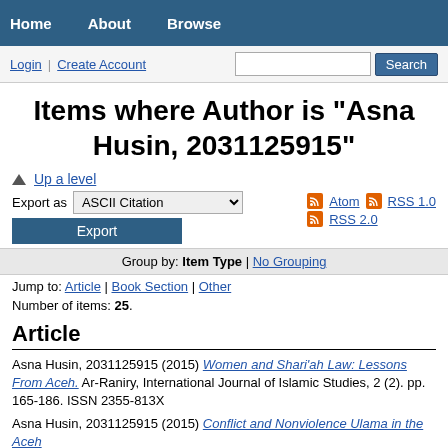Home | About | Browse | Login | Create Account | Search
Items where Author is "Asna Husin, 2031125915"
Up a level
Export as ASCII Citation  Export | Atom | RSS 1.0 | RSS 2.0
Group by: Item Type | No Grouping
Jump to: Article | Book Section | Other
Number of items: 25.
Article
Asna Husin, 2031125915 (2015) Women and Shari'ah Law: Lessons From Aceh. Ar-Raniry, International Journal of Islamic Studies, 2 (2). pp. 165-186. ISSN 2355-813X
Asna Husin, 2031125915 (2015) Conflict and Nonviolence Ulama in the Aceh...